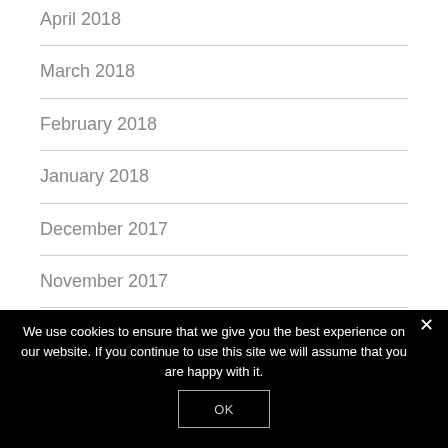April 2018
March 2018
February 2018
January 2018
December 2017
November 2017
October 2017
We use cookies to ensure that we give you the best experience on our website. If you continue to use this site we will assume that you are happy with it.
OK